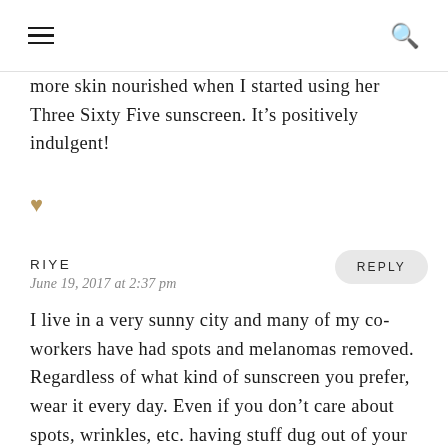≡  🔍
more skin nourished when I started using her Three Sixty Five sunscreen. It’s positively indulgent! ♥
RIYE
June 19, 2017 at 2:37 pm
REPLY
I live in a very sunny city and many of my co-workers have had spots and melanomas removed. Regardless of what kind of sunscreen you prefer, wear it every day. Even if you don’t care about spots, wrinkles, etc. having stuff dug out of your skin is not fun. I wear sunscreen every day and sunglasses, hat, long pants